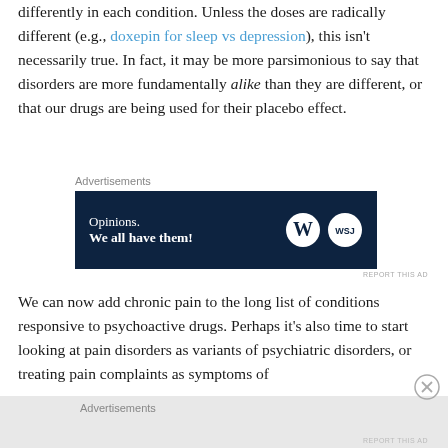differently in each condition. Unless the doses are radically different (e.g., doxepin for sleep vs depression), this isn't necessarily true.  In fact, it may be more parsimonious to say that disorders are more fundamentally alike than they are different, or that our drugs are being used for their placebo effect.
[Figure (screenshot): Advertisement banner with dark navy background reading 'Opinions. We all have them!' with WordPress and WSJ logos]
We can now add chronic pain to the long list of conditions responsive to psychoactive drugs.  Perhaps it's also time to start looking at pain disorders as variants of psychiatric disorders, or treating pain complaints as symptoms of
[Figure (screenshot): Advertisements label at bottom of page with grey background]